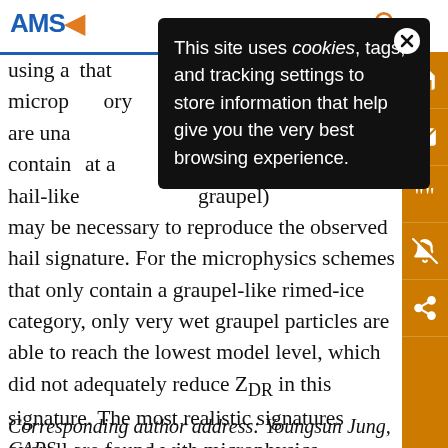AMS
[Figure (screenshot): Cookie consent popup overlay with black background reading: This site uses cookies, tags, and tracking settings to store information that help give you the very best browsing experience. Close button (X) in top right.]
using a ... that microphysics ... ory are una... contain ... at a hail-like ... (... graupel) may be necessary to reproduce the observed hail signature. For the microphysics schemes that only contain a graupel-like rimed-ice category, only very wet graupel particles are able to reach the lowest model level, which did not adequately reduce Z_DR in this signature. The most realistic signatures overall are found with microphysics schemes that are fully 2M with a separate hail category.
Corresponding author address: Youngsun Jung, CAPS